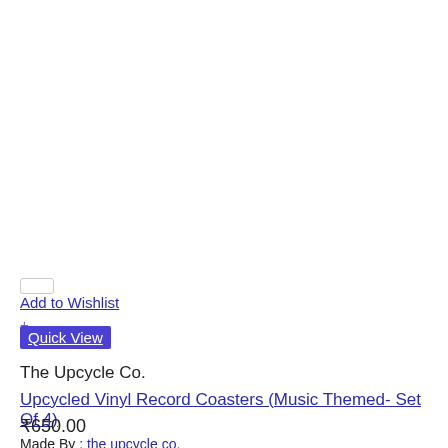Add to Wishlist
+
Quick View
The Upcycle Co.
Upcycled Vinyl Record Coasters (Music Themed- Set Of 4)
₹650.00
Made By : the upcycle co.